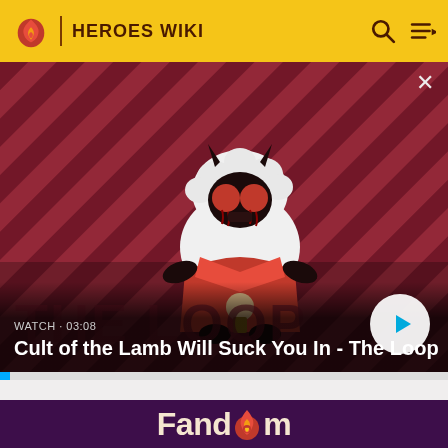HEROES WIKI
[Figure (screenshot): Video thumbnail for 'Cult of the Lamb Will Suck You In - The Loop' showing a cartoon lamb character with red eyes and devil horns on a diagonal striped dark red/purple background. Shows WATCH • 03:08 label and a play button.]
Cult of the Lamb Will Suck You In - The Loop
[Figure (logo): Fandom logo on dark purple background - white text 'Fandom' with a flame/heart icon replacing the letter 'o']